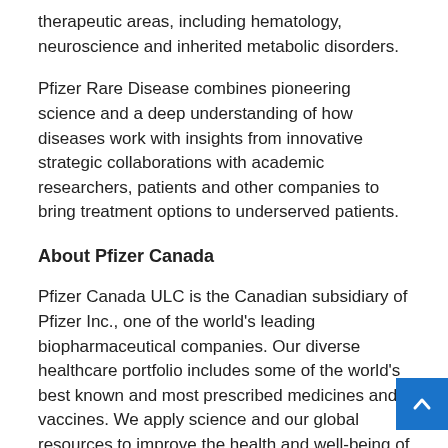therapeutic areas, including hematology, neuroscience and inherited metabolic disorders.
Pfizer Rare Disease combines pioneering science and a deep understanding of how diseases work with insights from innovative strategic collaborations with academic researchers, patients and other companies to bring treatment options to underserved patients.
About Pfizer Canada
Pfizer Canada ULC is the Canadian subsidiary of Pfizer Inc., one of the world's leading biopharmaceutical companies. Our diverse healthcare portfolio includes some of the world's best known and most prescribed medicines and vaccines. We apply science and our global resources to improve the health and well-being of Canadians at every stage of life. Our commitment is reflected in everything we do, from our disease awareness initiatives to our community partnerships. To learn more about Pfizer Canada, visit pfizer.ca or you can follow us on LinkedIn